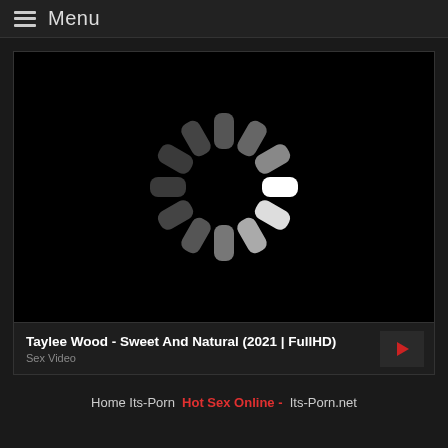≡ Menu
[Figure (screenshot): Video player with black background showing a circular loading spinner (buffering indicator) with segments ranging from dark gray to white in clockwise progression]
Taylee Wood - Sweet And Natural (2021 | FullHD)
Sex Video
Home Its-Porn  Hot Sex Online -  Its-Porn.net